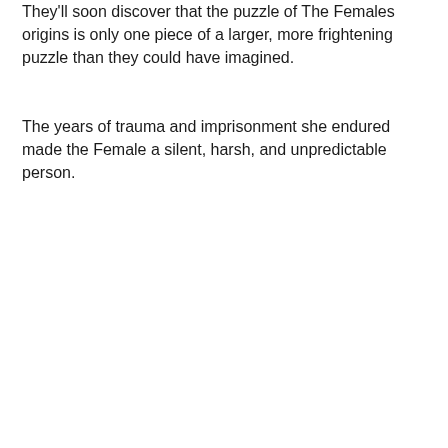They'll soon discover that the puzzle of The Females origins is only one piece of a larger, more frightening puzzle than they could have imagined.
The years of trauma and imprisonment she endured made the Female a silent, harsh, and unpredictable person.